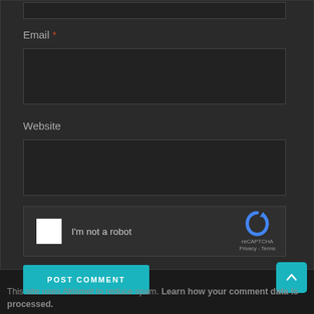Email *
[Figure (screenshot): Email text input field (dark background, dark border)]
Website
[Figure (screenshot): Website text input field (dark background, dark border)]
[Figure (other): reCAPTCHA widget with checkbox, 'I'm not a robot' text, and reCAPTCHA logo with Privacy and Terms links]
POST COMMENT
This site uses Akismet to reduce spam. Learn how your comment data is processed.